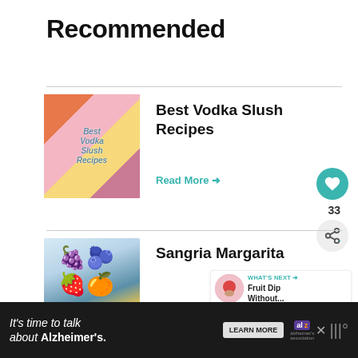Recommended
[Figure (photo): Collage of colorful vodka slush drinks with overlay text 'Best Vodka Slush Recipes']
Best Vodka Slush Recipes
Read More →
[Figure (photo): Glass of Sangria Margarita with blackberries, raspberries, mint, and orange slice]
Sangria Margarita
Read More →
WHAT'S NEXT → Fruit Dip Without...
It's time to talk about Alzheimer's.
LEARN MORE